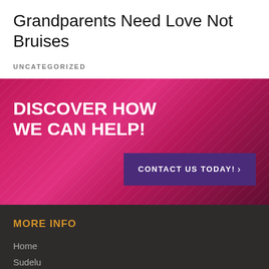Grandparents Need Love Not Bruises
UNCATEGORIZED
[Figure (infographic): Pink/magenta gradient banner with text 'DISCOVER HOW WE CAN HELP!' and a purple 'CONTACT US TODAY!' button]
MORE INFO
Home
Sudelu